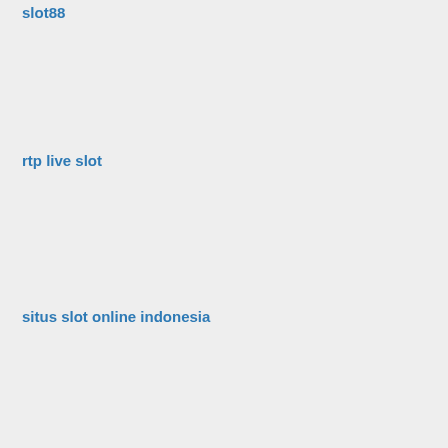slot88
rtp live slot
situs slot online indonesia
togel sidney
website slot95 judi online terpercaya deposit pulsa
situs slot88
judi slot